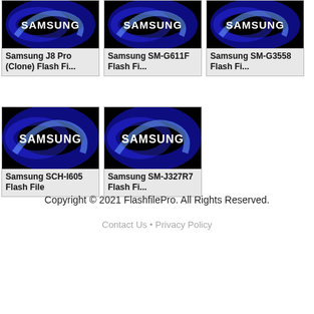[Figure (screenshot): Grid of Samsung flash file cards, each with a Samsung logo image on black background and bold text label below]
Samsung J8 Pro (Clone) Flash Fi...
Samsung SM-G611F Flash Fi...
Samsung SM-G3558 Flash Fi...
Samsung SCH-I605 Flash File
Samsung SM-J327R7 Flash Fi...
Copyright © 2021 FlashfilePro. All Rights Reserved.
Contact Us • Privacy Policy